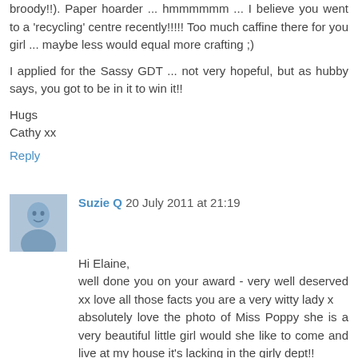broody!!). Paper hoarder ... hmmmmmm ... I believe you went to a 'recycling' centre recently!!!!! Too much caffine there for you girl ... maybe less would equal more crafting ;)
I applied for the Sassy GDT ... not very hopeful, but as hubby says, you got to be in it to win it!!
Hugs
Cathy xx
Reply
Suzie Q  20 July 2011 at 21:19
Hi Elaine,
well done you on your award - very well deserved xx love all those facts you are a very witty lady x
absolutely love the photo of Miss Poppy she is a very beautiful little girl would she like to come and live at my house it's lacking in the girly dept!!
hugs
Suzie qx
Reply